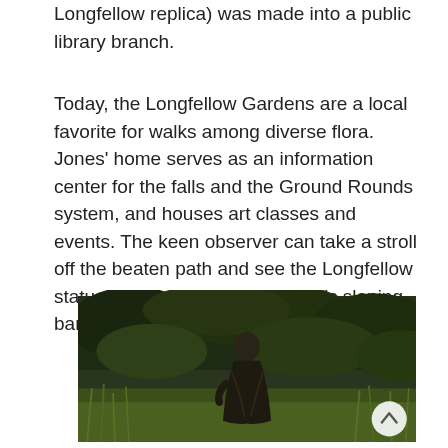Longfellow replica) was made into a public library branch.
Today, the Longfellow Gardens are a local favorite for walks among diverse flora. Jones' home serves as an information center for the falls and the Ground Rounds system, and houses art classes and events. The keen observer can take a stroll off the beaten path and see the Longfellow statue among Minnehaha Creek's sloping banks and tall grasses.
[Figure (photo): Photograph of a bronze Longfellow statue surrounded by tall green grasses and trees near Minnehaha Creek. The statue depicts a robed elderly figure. A circular scroll-up button is visible in the bottom-right corner of the image.]